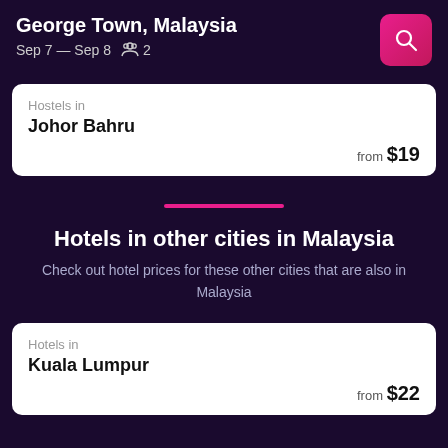George Town, Malaysia
Sep 7 — Sep 8   2
Hostels in
Johor Bahru
from $19
[Figure (other): Pink horizontal divider line]
Hotels in other cities in Malaysia
Check out hotel prices for these other cities that are also in Malaysia
Hotels in
Kuala Lumpur
from $22